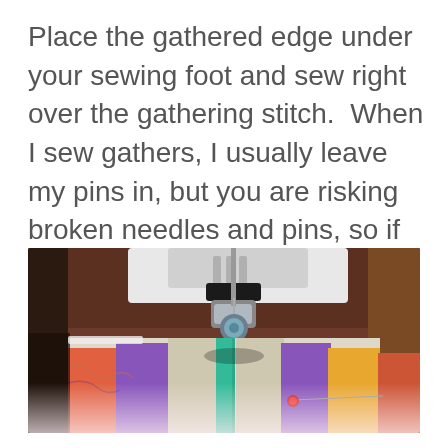Place the gathered edge under your sewing foot and sew right over the gathering stitch.  When I sew gathers, I usually leave my pins in, but you are risking broken needles and pins, so if you do this, go slowly and be careful…
[Figure (photo): Close-up photo of a sewing machine foot pressing down on colorful striped fabric (orange, purple, green, yellow stripes) with a pin visible, and a teal/green gathering stitch running under the presser foot.]